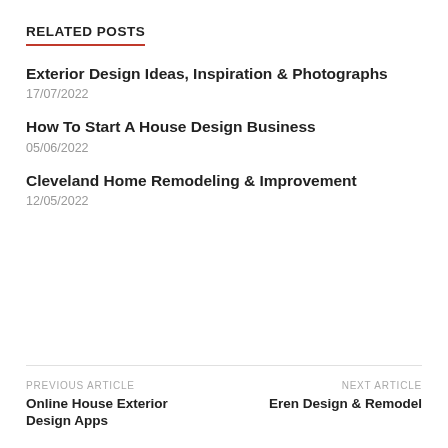RELATED POSTS
Exterior Design Ideas, Inspiration & Photographs
17/07/2022
How To Start A House Design Business
05/06/2022
Cleveland Home Remodeling & Improvement
12/05/2022
PREVIOUS ARTICLE
Online House Exterior Design Apps
NEXT ARTICLE
Eren Design & Remodel